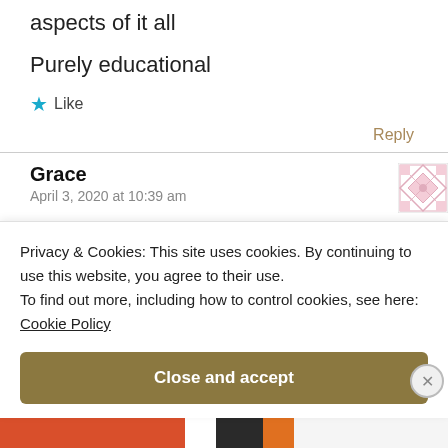aspects of it all
Purely educational
★ Like
Reply
Grace
April 3, 2020 at 10:39 am
Privacy & Cookies: This site uses cookies. By continuing to use this website, you agree to their use.
To find out more, including how to control cookies, see here:
Cookie Policy
Close and accept